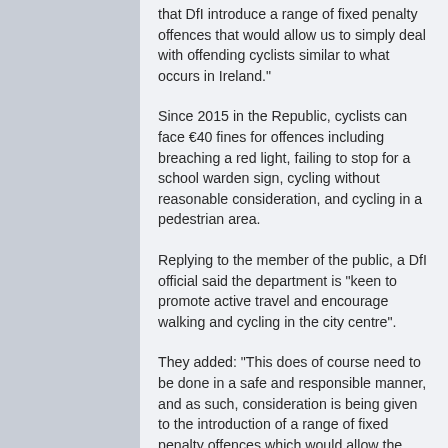that DfI introduce a range of fixed penalty offences that would allow us to simply deal with offending cyclists similar to what occurs in Ireland."
Since 2015 in the Republic, cyclists can face €40 fines for offences including breaching a red light, failing to stop for a school warden sign, cycling without reasonable consideration, and cycling in a pedestrian area.
Replying to the member of the public, a DfI official said the department is "keen to promote active travel and encourage walking and cycling in the city centre".
They added: "This does of course need to be done in a safe and responsible manner, and as such, consideration is being given to the introduction of a range of fixed penalty offences which would allow the PSNI